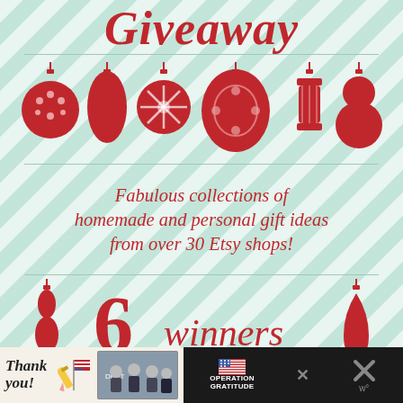Giveaway
[Figure (illustration): Seven red Christmas ornaments of various shapes (round, teardrop, snowflake, lantern, double-ball) arranged in a horizontal row with a horizontal line above and below]
Fabulous collections of homemade and personal gift ideas from over 30 Etsy shops!
6 winners
$200 Etsy Gift Card AND
[Figure (infographic): Bottom advertisement bar showing 'Thank you!' text with pencil and flag illustration, group photo of people, Operation Gratitude logo with US flag, close X button, and weather icon]